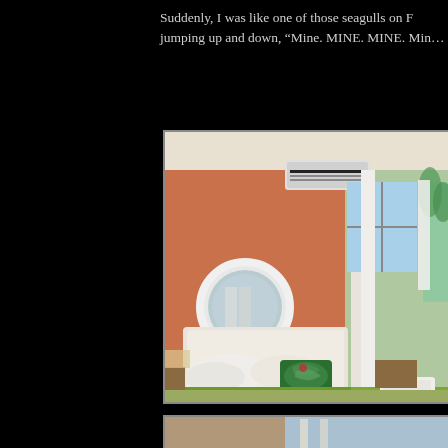Suddenly, I was like one of those seagulls on F… jumping up and down, “Mine. MINE. MINE. Min…”
[Figure (photo): A tropical hotel bedroom with orange walls, white four-poster bed frame, round white-framed mirror, green bedspread, colorful tropical pillows, air conditioning unit on wall, windows with white curtains showing palm trees and ocean view.]
[Figure (photo): Partial view of a second photo at the bottom of the page, cropped.]